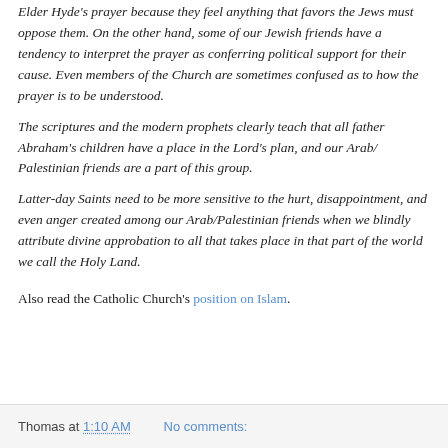Elder Hyde's prayer because they feel anything that favors the Jews must oppose them. On the other hand, some of our Jewish friends have a tendency to interpret the prayer as conferring political support for their cause. Even members of the Church are sometimes confused as to how the prayer is to be understood.
The scriptures and the modern prophets clearly teach that all father Abraham's children have a place in the Lord's plan, and our Arab/ Palestinian friends are a part of this group.
Latter-day Saints need to be more sensitive to the hurt, disappointment, and even anger created among our Arab/Palestinian friends when we blindly attribute divine approbation to all that takes place in that part of the world we call the Holy Land.
Also read the Catholic Church's position on Islam.
Thomas at 1:10 AM   No comments: